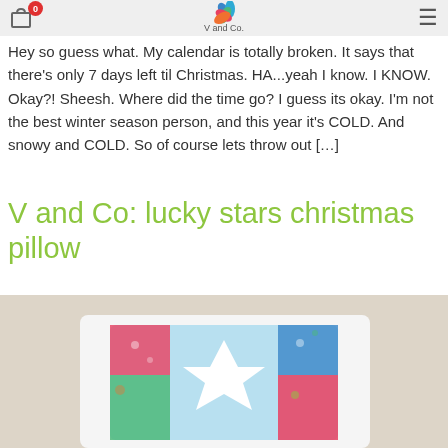V and Co. [logo with cart icon and hamburger menu]
Hey so guess what. My calendar is totally broken. It says that there's only 7 days left til Christmas. HA...yeah I know. I KNOW. Okay?! Sheesh. Where did the time go? I guess its okay. I'm not the best winter season person, and this year it's COLD. And snowy and COLD. So of course lets throw out [...]
V and Co: lucky stars christmas pillow
[Figure (photo): A colorful patchwork Christmas star pillow on a white chair. The pillow features a large white star on a background of bright holiday fabrics in red, green, blue, and pink patterns.]